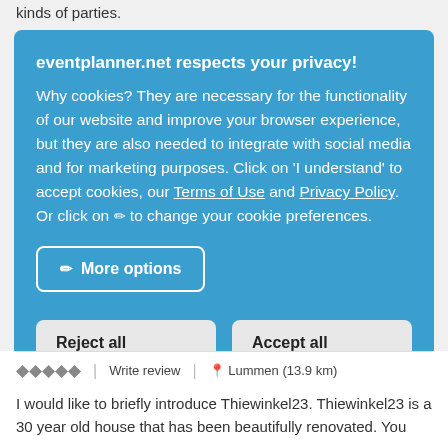kinds of parties.
eventplanner.net respects your privacy!
Why cookies? They are necessary for the functionality of our website and improve your browser experience, but they are also needed to integrate with social media and for marketing purposes. Click on 'I understand' to accept cookies, our Terms of Use and Privacy Policy. Or click on ✏ to change your cookie preferences.
More options
Reject all
Accept all
Write review   |   Lummen (13.9 km)
I would like to briefly introduce Thiewinkel23. Thiewinkel23 is a 30 year old house that has been beautifully renovated. You